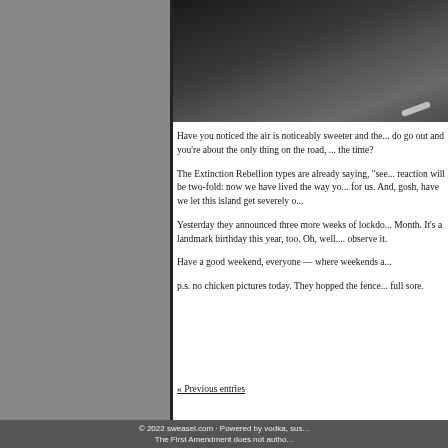[Figure (photo): Dark grayscale photo, mostly black/dark gray tones with a faint white streak in the lower right area]
Have you noticed the air is noticeably sweeter and the... do go out and you're about the only thing on the road, ... the time?
The Extinction Rebellion types are already saying, "see... reaction will be two-fold: now we have lived the way yo... for us. And, gosh, have we let this island get severely o...
Yesterday they announced three more weeks of lockdo... Month. It's a landmark birthday this year, too. Oh, well.... observe it.
Have a good weekend, everyone — where weekends a...
p.s. no chicken pictures today. They hopped the fence... full sore.
« Previous entries
© 2022 sweasel.com · Powered by vodka, sus...
The First Amendment does not autho...